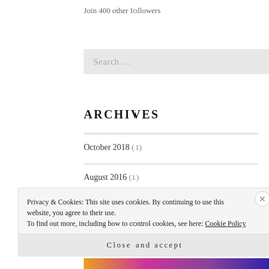Join 400 other followers
Search ...
ARCHIVES
October 2018 (1)
August 2016 (1)
Privacy & Cookies: This site uses cookies. By continuing to use this website, you agree to their use.
To find out more, including how to control cookies, see here: Cookie Policy
Close and accept